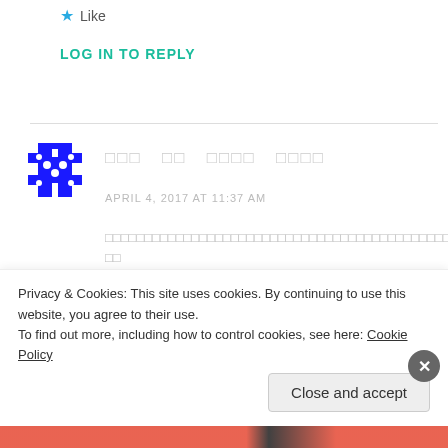Like
LOG IN TO REPLY
[Figure (illustration): Blue pixel/mosaic avatar icon]
??? ?? ???? ???? APRIL 4, 2017 AT 11:37 AM
Privacy & Cookies: This site uses cookies. By continuing to use this website, you agree to their use. To find out more, including how to control cookies, see here: Cookie Policy
Close and accept